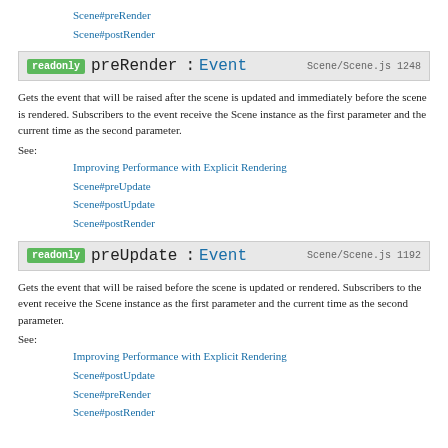Scene#preRender
Scene#postRender
readonly preRender : Event  Scene/Scene.js 1248
Gets the event that will be raised after the scene is updated and immediately before the scene is rendered. Subscribers to the event receive the Scene instance as the first parameter and the current time as the second parameter.
See:
Improving Performance with Explicit Rendering
Scene#preUpdate
Scene#postUpdate
Scene#postRender
readonly preUpdate : Event  Scene/Scene.js 1192
Gets the event that will be raised before the scene is updated or rendered. Subscribers to the event receive the Scene instance as the first parameter and the current time as the second parameter.
See:
Improving Performance with Explicit Rendering
Scene#postUpdate
Scene#preRender
Scene#postRender